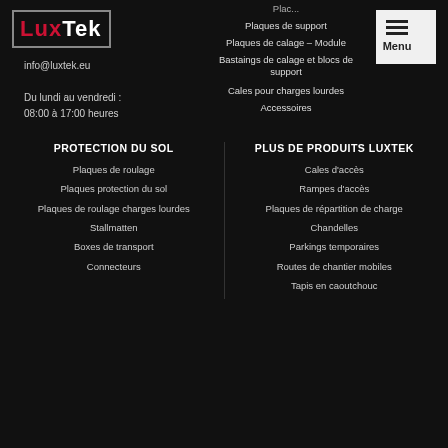[Figure (logo): LuxTek logo with red 'Lux' and white 'Tek' text inside a grey rectangle border]
info@luxtek.eu
Du lundi au vendredi :
08:00 à 17:00 heures
Plaques de support
Plaques de calage – Module
Bastaings de calage et blocs de support
Cales pour charges lourdes
Accessoires
PROTECTION DU SOL
Plaques de roulage
Plaques protection du sol
Plaques de roulage charges lourdes
Stallmatten
Boxes de transport
Connecteurs
PLUS DE PRODUITS LUXTEK
Cales d'accès
Rampes d'accès
Plaques de répartition de charge
Chandelles
Parkings temporaires
Routes de chantier mobiles
Tapis en caoutchouc